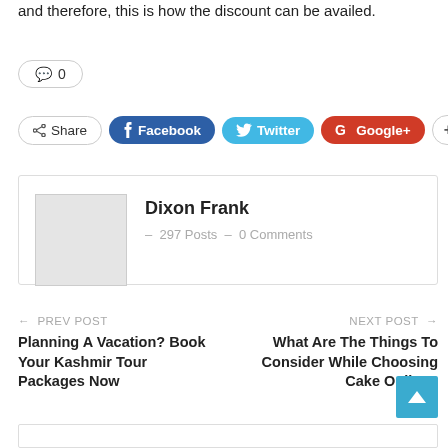and therefore, this is how the discount can be availed.
💬 0
Share  Facebook  Twitter  Google+  +
Dixon Frank – 297 Posts – 0 Comments
← PREV POST
Planning A Vacation? Book Your Kashmir Tour Packages Now
NEXT POST →
What Are The Things To Consider While Choosing Cake Online?